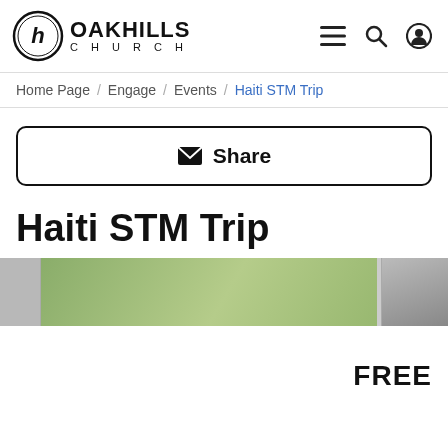OAK HILLS CHURCH — navigation header
Home Page / Engage / Events / Haiti STM Trip
Share (email share button)
Haiti STM Trip
[Figure (photo): Partial photograph showing green foliage and a person, cropped at the bottom of the page]
FREE